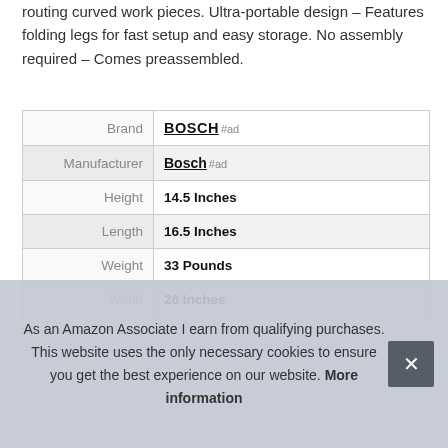routing curved work pieces. Ultra-portable design – Features folding legs for fast setup and easy storage. No assembly required – Comes preassembled.
|  |  |
| --- | --- |
| Brand | BOSCH #ad |
| Manufacturer | Bosch #ad |
| Height | 14.5 Inches |
| Length | 16.5 Inches |
| Weight | 33 Pounds |
| Width | 26 Inches |
| P |  |
As an Amazon Associate I earn from qualifying purchases. This website uses the only necessary cookies to ensure you get the best experience on our website. More information